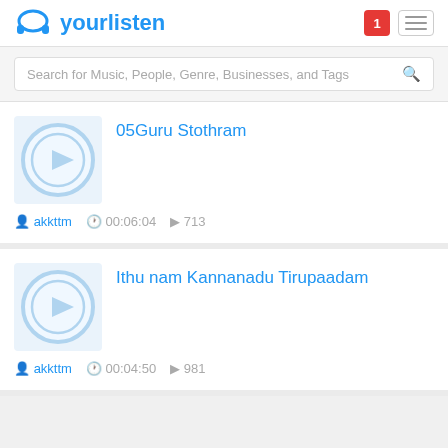yourlisten
Search for Music, People, Genre, Businesses, and Tags
05Guru Stothram
akkttm  00:06:04  713
Ithu nam Kannanadu Tirupaadam
akkttm  00:04:50  981